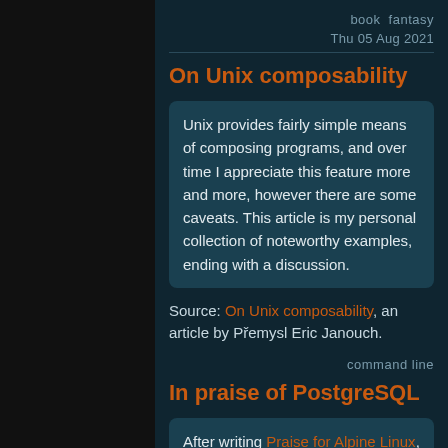book   fantasy
Thu 05 Aug 2021
On Unix composability
Unix provides fairly simple means of composing programs, and over time I appreciate this feature more and more, however there are some caveats. This article is my personal collection of noteworthy examples, ending with a discussion.
Source: On Unix composability, an article by Přemysl Eric Janouch.
command line
In praise of PostgreSQL
After writing Praise for Alpine Linux, I have decided to continue writing more articles in